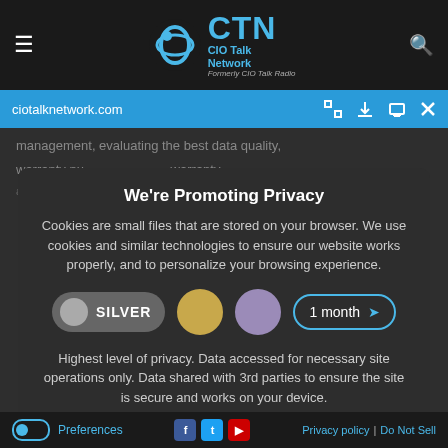[Figure (screenshot): CTN CIO Talk Network website header with hamburger menu, logo, and search icon on dark background]
[Figure (screenshot): Browser address bar showing ciotalknetwork.com with navigation icons on blue background]
We're Promoting Privacy
Cookies are small files that are stored on your browser. We use cookies and similar technologies to ensure our website works properly, and to personalize your browsing experience.
[Figure (infographic): Privacy level selector showing SILVER toggle, gold circle, purple circle, and 1 month dropdown]
Highest level of privacy. Data accessed for necessary site operations only. Data shared with 3rd parties to ensure the site is secure and works on your device.
[Figure (screenshot): Save my preferences button in blue rounded rectangle]
Preferences | Privacy policy | Do Not Sell